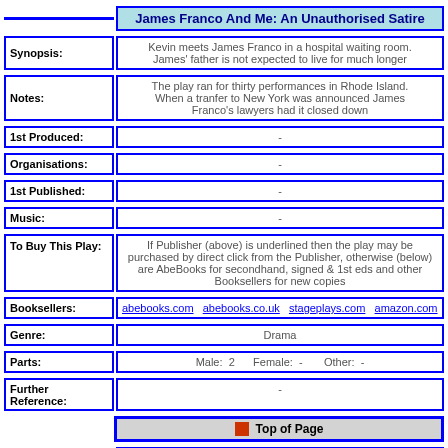James Franco And Me: An Unauthorised Satire
Synopsis:
Kevin meets James Franco in a hospital waiting room. James' father is not expected to live for much longer
Notes:
The play ran for thirty performances in Rhode Island. When a tranfer to New York was announced James Franco's lawyers had it closed down
1st Produced:
-
Organisations:
-
1st Published:
-
Music:
-
To Buy This Play:
If Publisher (above) is underlined then the play may be purchased by direct click from the Publisher, otherwise (below) are AbeBooks for secondhand, signed & 1st eds and other Booksellers for new copies
Booksellers:
abebooks.com  abebooks.co.uk  stageplays.com  amazon.com  amazon.co.uk  an
Genre:
Drama
Parts:
Male:  2      Female:  -      Other:  -
Further Reference:
-
Top of Page
Kill The Virgin
Synopsis:
Teenager Ali wakes up to discover that she is in a slasher movie, and she is the next victim